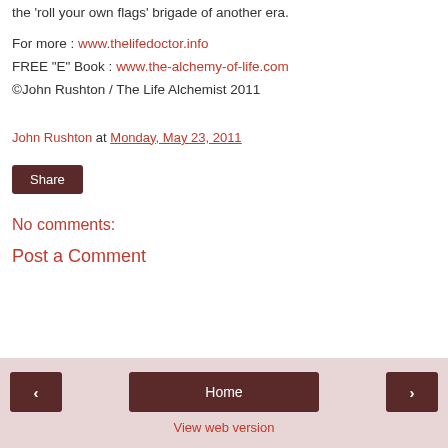the 'roll your own flags' brigade of another era.
For more : www.thelifedoctor.info
FREE "E" Book : www.the-alchemy-of-life.com
©John Rushton / The Life Alchemist 2011
John Rushton at Monday, May 23, 2011
Share
No comments:
Post a Comment
‹  Home  ›
View web version